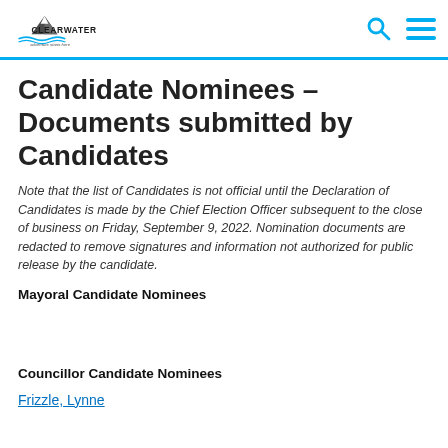Clearwater — adventure starts here
Candidate Nominees – Documents submitted by Candidates
Note that the list of Candidates is not official until the Declaration of Candidates is made by the Chief Election Officer subsequent to the close of business on Friday, September 9, 2022. Nomination documents are redacted to remove signatures and information not authorized for public release by the candidate.
Mayoral Candidate Nominees
Councillor Candidate Nominees
Frizzle, Lynne